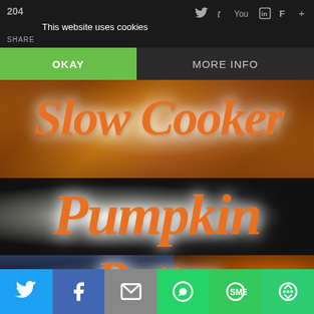This website uses cookies
OKAY
MORE INFO
[Figure (photo): Slow Cooker Pumpkin Butter recipe title image with orange script text on food photography background]
Social share buttons: Twitter, Facebook, Email, WhatsApp, SMS, More